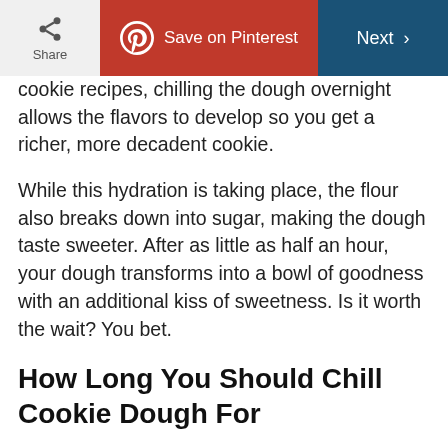Share | Save on Pinterest | Next
cookie recipes, chilling the dough overnight allows the flavors to develop so you get a richer, more decadent cookie.
While this hydration is taking place, the flour also breaks down into sugar, making the dough taste sweeter. After as little as half an hour, your dough transforms into a bowl of goodness with an additional kiss of sweetness. Is it worth the wait? You bet.
How Long You Should Chill Cookie Dough For
This is really up to you. If you're short on time, try and squeeze in at least half an